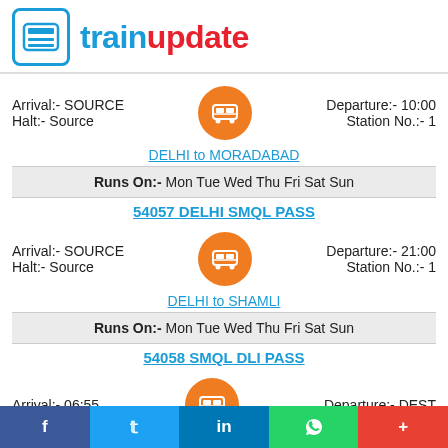trainupdate
Arrival:- SOURCE   Departure:- 10:00   Halt:- Source   Station No.:- 1
DELHI to MORADABAD
Runs On:- Mon Tue Wed Thu Fri Sat Sun
54057 DELHI SMQL PASS
Arrival:- SOURCE   Departure:- 21:00   Halt:- Source   Station No.:- 1
DELHI to SHAMLI
Runs On:- Mon Tue Wed Thu Fri Sat Sun
54058 SMQL DLI PASS
Arrival:- 06:55   Departure:- DEST